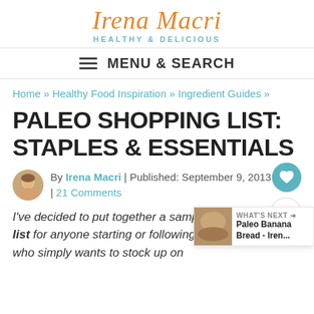[Figure (logo): Irena Macri script logo in orange with 'HEALTHY & DELICIOUS' tagline in teal]
MENU & SEARCH
Home » Healthy Food Inspiration » Ingredient Guides »
PALEO SHOPPING LIST: STAPLES & ESSENTIALS
By Irena Macri | Published: September 9, 2013 | 21 Comments
I've decided to put together a sample paleo shopping list for anyone starting or following the paleo diet, or who simply wants to stock up on